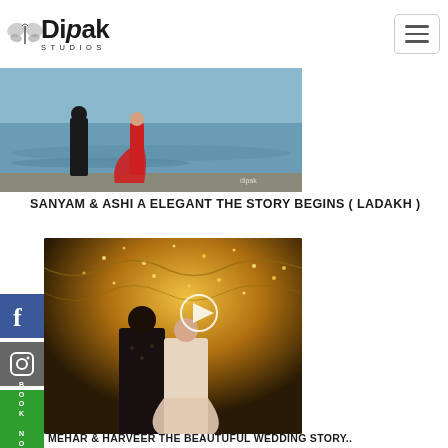[Figure (logo): Dipak Studios logo with butterfly icon and text]
[Figure (photo): Couple near water body, woman in red dress, man in dark attire – Ladakh pre-wedding shoot]
SANYAM & ASHI A ELEGANT THE STORY BEGINS ( LADAKH )
[Figure (photo): Couple at wedding venue with fairy lights, man in dark sherwani, woman in light lehenga, play button overlay – Mehar & Harveer wedding]
MEHAR & HARVEER THE BEAUTUFUL WEDDING STORY..